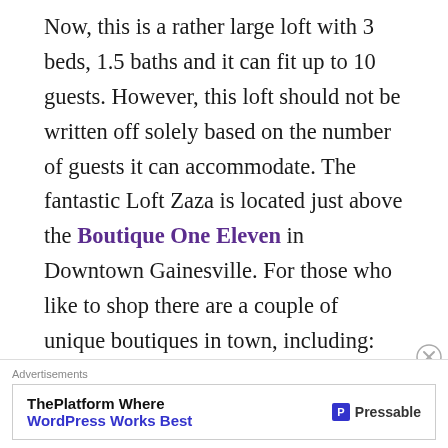Now, this is a rather large loft with 3 beds, 1.5 baths and it can fit up to 10 guests. However, this loft should not be written off solely based on the number of guests it can accommodate. The fantastic Loft Zaza is located just above the Boutique One Eleven in Downtown Gainesville. For those who like to shop there are a couple of unique boutiques in town, including: Boutique One Eleven, Cahoots Handbags, Amelia's Attic Antiques, Kinne's Jewlers, and Bungalow 123. There are also a
Advertisements
ThePlatform Where WordPress Works Best — Pressable